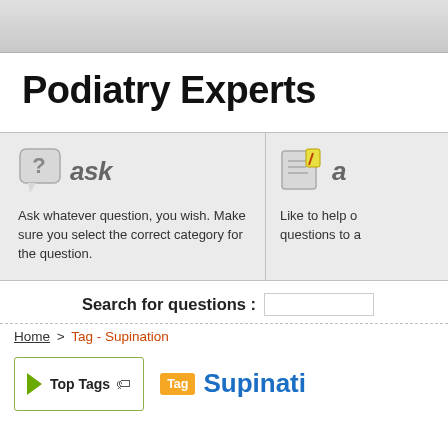Podiatry Experts
[Figure (infographic): Two-panel card UI: left panel shows a question-mark speech bubble icon with italic 'ask' text, and description 'Ask whatever question, you wish. Make sure you select the correct category for the question.' Right panel partially visible with pencil/paper icon and 'a' text and partial description 'Like to help o... questions to a...']
Search for questions :
Home > Tag - Supination
Top Tags
Tag Supinati...